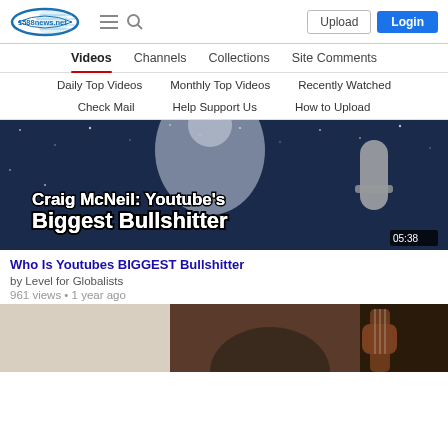1588news.net — Upload | Login navigation header
Videos
Channels
Collections
Site Comments
Daily Top Videos
Monthly Top Videos
Recently Watched
Check Mail
Help Support Us
How to Upload
[Figure (screenshot): Video thumbnail showing text 'Craig McNeil: Youtube's Biggest Bullshitter' with duration 05:38]
Who Is Youtubes BIGGEST Bullshitter
by Level for Globalists
961 views • 1 year ago
[Figure (screenshot): Partial thumbnail of a second video showing a person with a guitar]